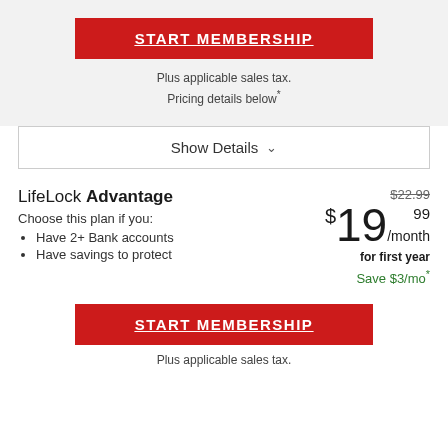START MEMBERSHIP
Plus applicable sales tax.
Pricing details below*
Show Details
LifeLock Advantage
Choose this plan if you:
Have 2+ Bank accounts
Have savings to protect
$22.99
$19.99/month
for first year
Save $3/mo*
START MEMBERSHIP
Plus applicable sales tax.